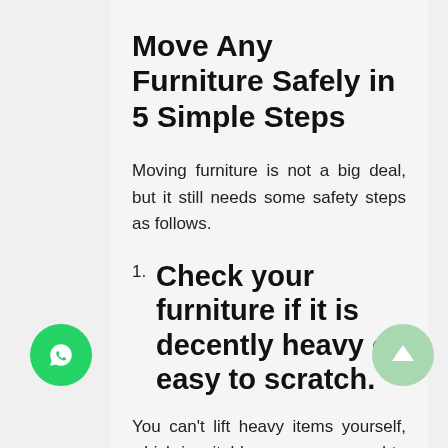Move Any Furniture Safely in 5 Simple Steps
Moving furniture is not a big deal, but it still needs some safety steps as follows.
1. Check your furniture if it is decently heavy or easy to scratch.
You can't lift heavy items yourself, which inevitably means you need to make it lighter. For this purpose, you have to remove the drawers, take the table legs off, shelves, and keep them separately. For shifting